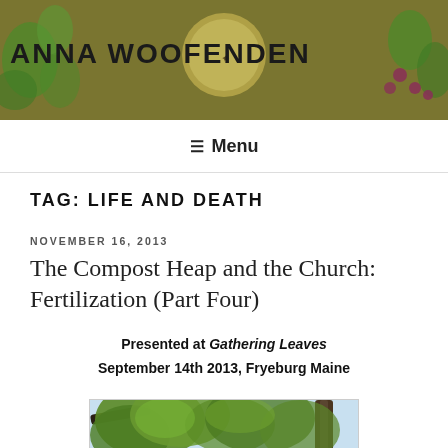ANNA WOOFENDEN
Menu
TAG: LIFE AND DEATH
NOVEMBER 16, 2013
The Compost Heap and the Church: Fertilization (Part Four)
Presented at Gathering Leaves September 14th 2013, Fryeburg Maine
[Figure (photo): Looking up through tree canopies at a blue sky, showing green leaves and branches.]